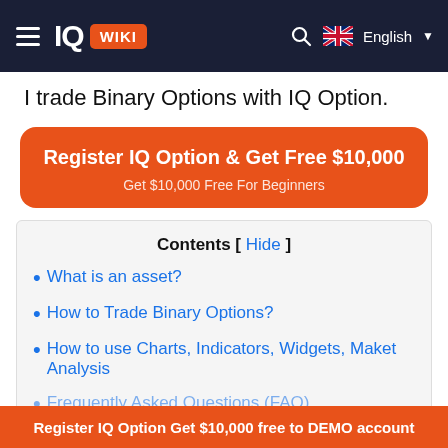IQ WIKI | English
I trade Binary Options with IQ Option.
[Figure (infographic): Orange rounded CTA button reading 'Register IQ Option & Get Free $10,000' with subtitle 'Get $10,000 Free For Beginners']
Contents [ Hide ]
• What is an asset?
• How to Trade Binary Options?
• How to use Charts, Indicators, Widgets, Maket Analysis
• Frequently Asked Questions (FAQ)
Register IQ Option Get $10,000 free to DEMO account